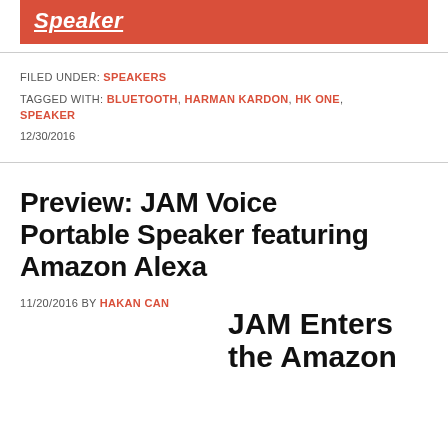[Figure (other): Red banner with italic bold underlined white text reading 'Speaker']
FILED UNDER: SPEAKERS
TAGGED WITH: BLUETOOTH, HARMAN KARDON, HK ONE, SPEAKER
12/30/2016
Preview: JAM Voice Portable Speaker featuring Amazon Alexa
11/20/2016 BY HAKAN CAN
JAM Enters the Amazon